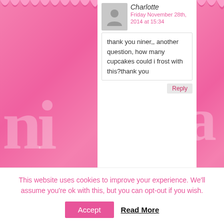Charlotte
Friday November 28th, 2014 at 15:34
thank you niner,, another question, how many cupcakes could i frost with this?thank you
Reply
niner bakes
Friday November 28th, 2014 at 16:09
Hi there, it depends how much
This website uses cookies to improve your experience. We'll assume you're ok with this, but you can opt-out if you wish.
Accept
Read More